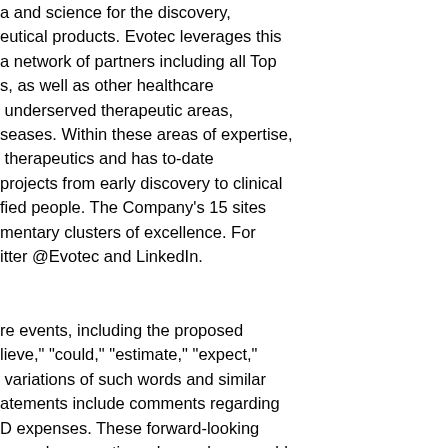a and science for the discovery, eutical products. Evotec leverages this a network of partners including all Top s, as well as other healthcare underserved therapeutic areas, seases. Within these areas of expertise, therapeutics and has to-date projects from early discovery to clinical fied people. The Company's 15 sites mentary clusters of excellence. For itter @Evotec and LinkedIn.
re events, including the proposed lieve," "could," "estimate," "expect," variations of such words and similar atements include comments regarding D expenses. These forward-looking ns and assumptions deemed reasonable e given that such expectations will prove ts and are based upon a number of ncertainties and contingencies, many of obligations or undertaking to release